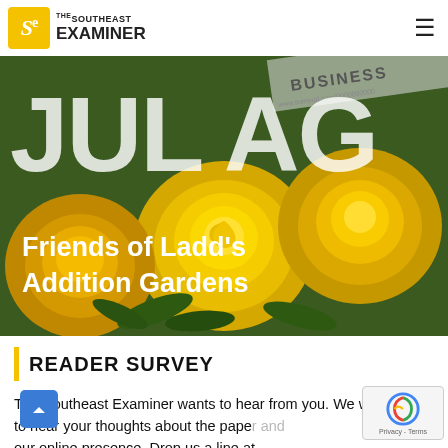The Southeast Examiner
[Figure (photo): Hero image of yellow roses/flowers with large overlaid white letters 'JUL AG' and the title 'Friends of Ladd's Addition Gardens' in bold white text. Background newspaper strip visible at top right with 'BUSINESS' text.]
READER SURVEY
The Southeast Examiner wants to hear from you. We would like to hear your thoughts about the paper and our online presence. Drop us a line at